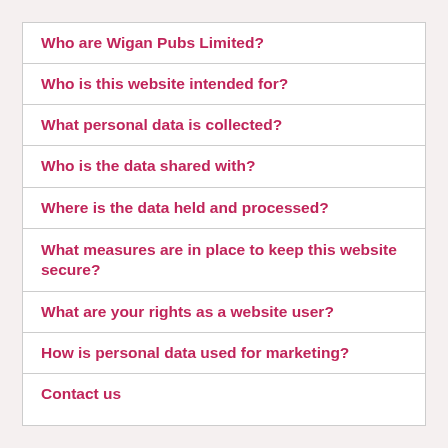Who are Wigan Pubs Limited?
Who is this website intended for?
What personal data is collected?
Who is the data shared with?
Where is the data held and processed?
What measures are in place to keep this website secure?
What are your rights as a website user?
How is personal data used for marketing?
Contact us